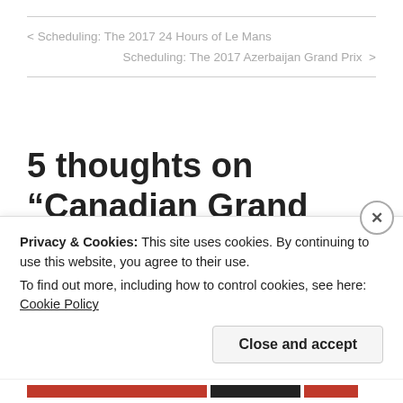< Scheduling: The 2017 24 Hours of Le Mans
Scheduling: The 2017 Azerbaijan Grand Prix >
5 thoughts on “Canadian Grand Prix dips below two million viewers”
Privacy & Cookies: This site uses cookies. By continuing to use this website, you agree to their use.
To find out more, including how to control cookies, see here: Cookie Policy
Close and accept